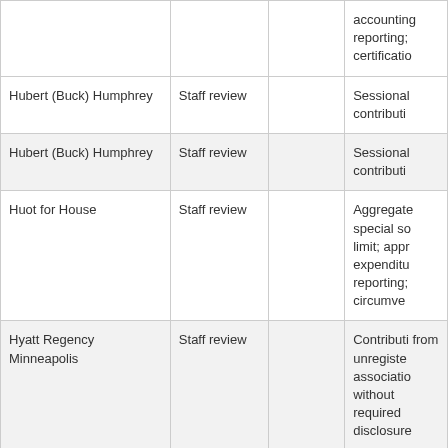|  |  |  | accounting reporting; certification |
| Hubert (Buck) Humphrey | Staff review |  | Sessional contributions |
| Hubert (Buck) Humphrey | Staff review |  | Sessional contributions |
| Huot for House | Staff review |  | Aggregate special source limit; appr expenditure reporting; circumven |
| Hyatt Regency Minneapolis | Staff review |  | Contributions from unregistered association without required disclosure |
| IAFF Local 1935 PAC | Staff review |  | Sessional contributions |